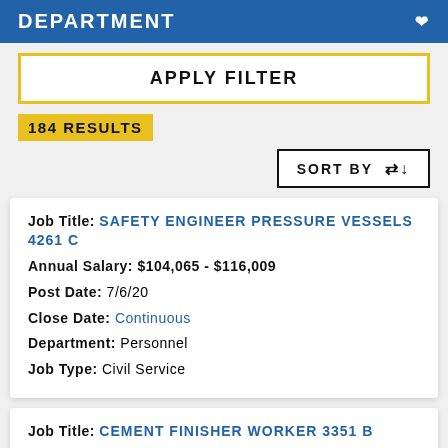DEPARTMENT
APPLY FILTER
184 RESULTS
SORT BY
Job Title: SAFETY ENGINEER PRESSURE VESSELS 4261 C
Annual Salary: $104,065 - $116,009
Post Date: 7/6/20
Close Date: Continuous
Department: Personnel
Job Type: Civil Service
Job Title: CEMENT FINISHER WORKER 3351 B
Annual Salary: $49,276 - $72,036